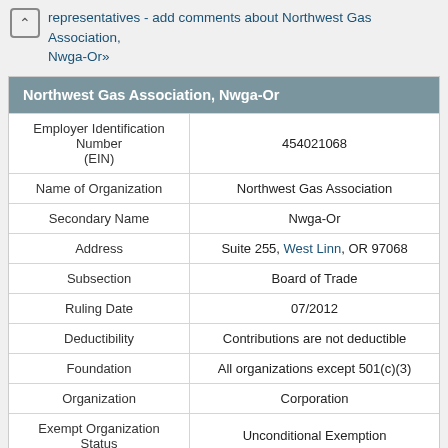representatives - add comments about Northwest Gas Association, Nwga-Or»
| Northwest Gas Association, Nwga-Or |  |
| --- | --- |
| Employer Identification Number (EIN) | 454021068 |
| Name of Organization | Northwest Gas Association |
| Secondary Name | Nwga-Or |
| Address | Suite 255, West Linn, OR 97068 |
| Subsection | Board of Trade |
| Ruling Date | 07/2012 |
| Deductibility | Contributions are not deductible |
| Foundation | All organizations except 501(c)(3) |
| Organization | Corporation |
| Exempt Organization Status | Unconditional Exemption |
| Tax Period | 12/2013 |
| Assets | $100,000 to $499,999 |
| Income | $500,000 to $999,999 |